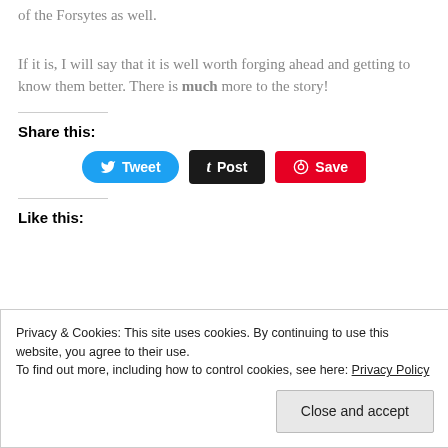of the Forsytes as well.
If it is, I will say that it is well worth forging ahead and getting to know them better. There is much more to the story!
Share this:
[Figure (infographic): Social share buttons: Tweet (blue rounded), Post (black Tumblr), Save (red Pinterest)]
Like this:
Privacy & Cookies: This site uses cookies. By continuing to use this website, you agree to their use.
To find out more, including how to control cookies, see here: Privacy Policy
Close and accept